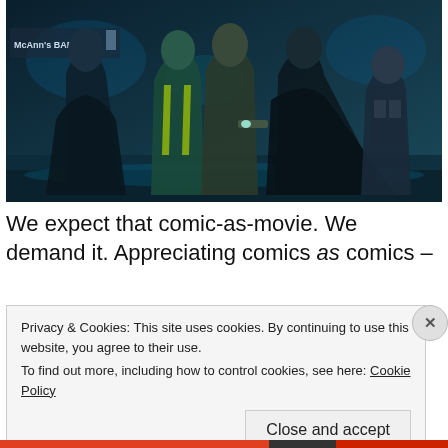[Figure (illustration): Movie poster style image showing several costumed superhero characters standing together in a dark, blue-tinted urban nighttime scene. A bar sign reading 'McAnn's BAR' is visible in the background.]
We expect that comic-as-movie. We demand it. Appreciating comics as comics –
Privacy & Cookies: This site uses cookies. By continuing to use this website, you agree to their use.
To find out more, including how to control cookies, see here: Cookie Policy
Close and accept